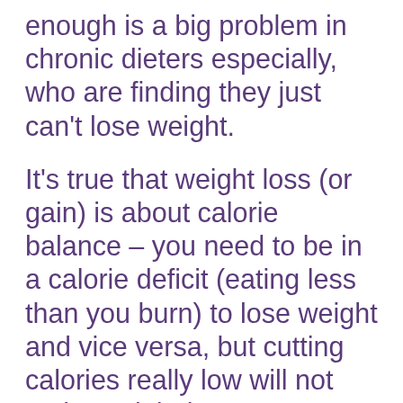enough is a big problem in chronic dieters especially, who are finding they just can't lose weight.
It's true that weight loss (or gain) is about calorie balance – you need to be in a calorie deficit (eating less than you burn) to lose weight and vice versa, but cutting calories really low will not make weight loss necessarily happen any faster, and may